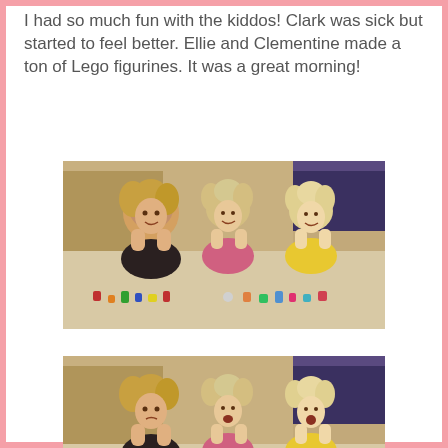I had so much fun with the kiddos! Clark was sick but started to feel better. Ellie and Clementine made a ton of Lego figurines. It was a great morning!
[Figure (photo): Three young children lying on the floor on their stomachs, smiling, with Lego figurines arranged in a line in front of them. Living room background with carpet.]
[Figure (photo): Same three young children lying on the floor on their stomachs, with different expressions (more candid), with the same Lego figurines in front of them. Living room background.]